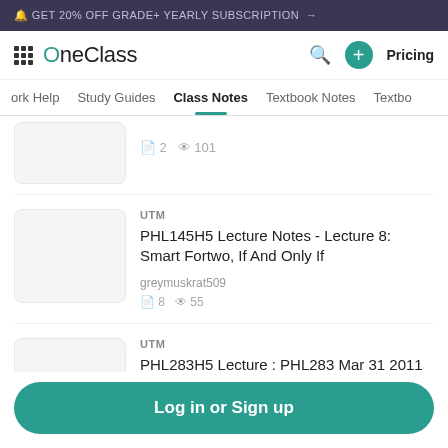🔔 GET 20% OFF GRADE+ YEARLY SUBSCRIPTION →
OneClass — Pricing
Work Help | Study Guides | Class Notes | Textbook Notes | Textbo...
2  101
UTM
PHL145H5 Lecture Notes - Lecture 8: Smart Fortwo, If And Only If
greymuskrat509
8  55
UTM
PHL283H5 Lecture : PHL283 Mar 31 2011
viriidiancockroach622